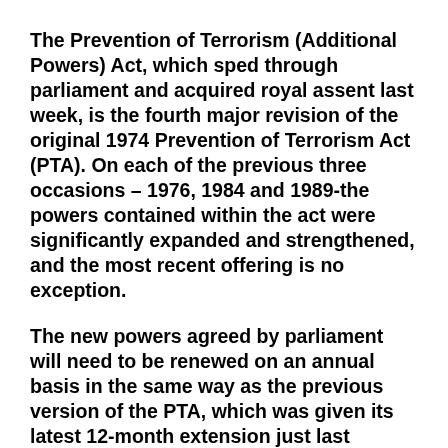The Prevention of Terrorism (Additional Powers) Act, which sped through parliament and acquired royal assent last week, is the fourth major revision of the original 1974 Prevention of Terrorism Act (PTA). On each of the previous three occasions – 1976, 1984 and 1989-the powers contained within the act were significantly expanded and strengthened, and the most recent offering is no exception.
The new powers agreed by parliament will need to be renewed on an annual basis in the same way as the previous version of the PTA, which was given its latest 12-month extension just last month.
The PTA contains a wide range of provisions, which can be divided into a number of distinct headings: arrest, search and detention; "exclusion orders"; banning of organisations; and, most controversially,